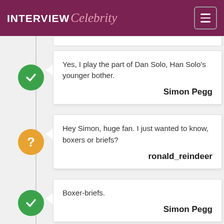INTERVIEW Celebrity
Yes, I play the part of Dan Solo, Han Solo's younger bother.
Simon Pegg
Hey Simon, huge fan. I just wanted to know, boxers or briefs?
ronald_reindeer
Boxer-briefs.
Simon Pegg